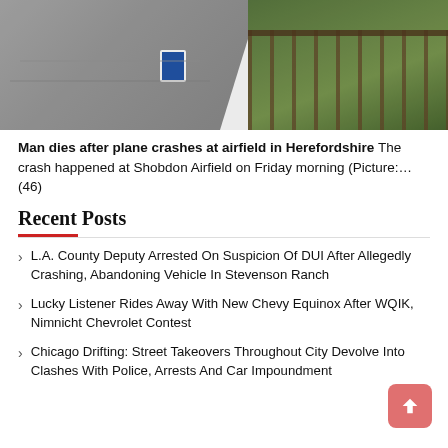[Figure (photo): Aerial view of an airfield with tarmac on the left, wooden fence on the right, grass, and a blue sign visible]
Man dies after plane crashes at airfield in Herefordshire The crash happened at Shobdon Airfield on Friday morning (Picture:… (46)
Recent Posts
L.A. County Deputy Arrested On Suspicion Of DUI After Allegedly Crashing, Abandoning Vehicle In Stevenson Ranch
Lucky Listener Rides Away With New Chevy Equinox After WQIK, Nimnicht Chevrolet Contest
Chicago Drifting: Street Takeovers Throughout City Devolve Into Clashes With Police, Arrests And Car Impoundment